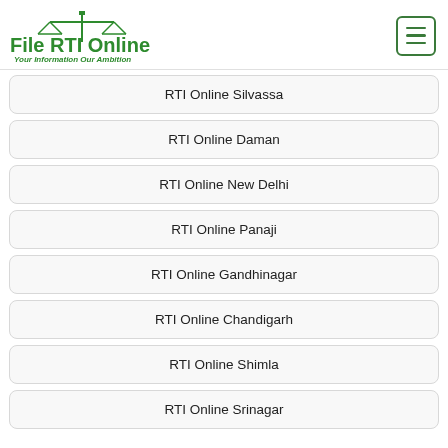[Figure (logo): File RTI Online logo with scales of justice icon and tagline 'Your Information Our Ambition']
RTI Online Silvassa
RTI Online Daman
RTI Online New Delhi
RTI Online Panaji
RTI Online Gandhinagar
RTI Online Chandigarh
RTI Online Shimla
RTI Online Srinagar